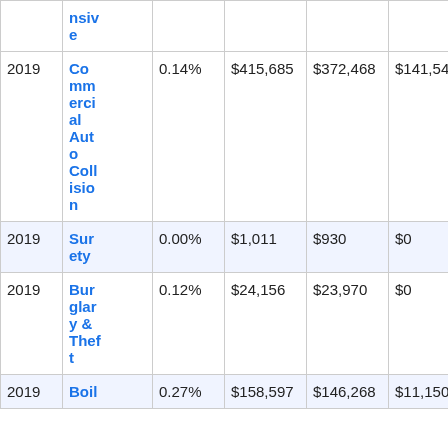| Year | Line | % | Col4 | Col5 | Col6 | Col7 |
| --- | --- | --- | --- | --- | --- | --- |
|  | nsive |  |  |  |  |  |
| 2019 | Commercial Auto Collision | 0.14% | $415,685 | $372,468 | $141,548 | $2… |
| 2019 | Surety | 0.00% | $1,011 | $930 | $0 | $- |
| 2019 | Burglary & Theft | 0.12% | $24,156 | $23,970 | $0 | $0… |
| 2019 | Boil | 0.27% | $158,597 | $146,268 | $11,150 | $7… |